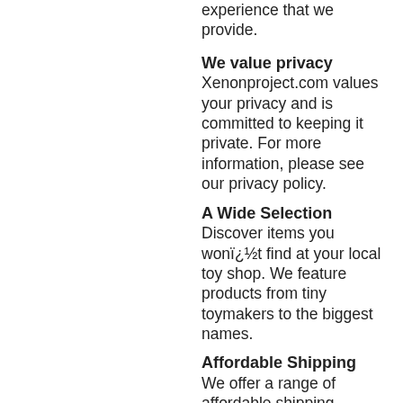experience that we provide.
We value privacy
Xenonproject.com values your privacy and is committed to keeping it private. For more information, please see our privacy policy.
A Wide Selection
Discover items you wonï¿½t find at your local toy shop. We feature products from tiny toymakers to the biggest names.
Affordable Shipping
We offer a range of affordable shipping options and pass our high-volume discounts onto you, the